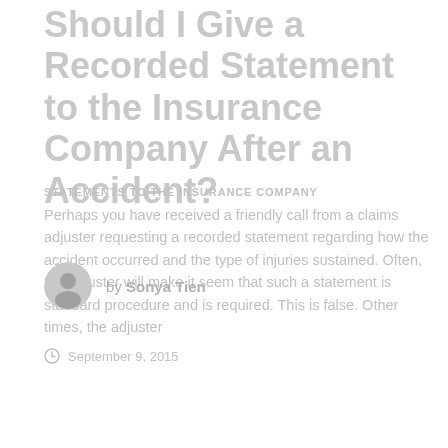Should I Give a Recorded Statement to the Insurance Company After an Accident?
STATEMENTS TO THE INSURANCE COMPANY
Perhaps you have received a friendly call from a claims adjuster requesting a recorded statement regarding how the accident occurred and the type of injuries sustained. Often, the adjuster will make it seem that such a statement is standard procedure and is required. This is false. Other times, the adjuster
by Sonya Tien
September 9, 2015